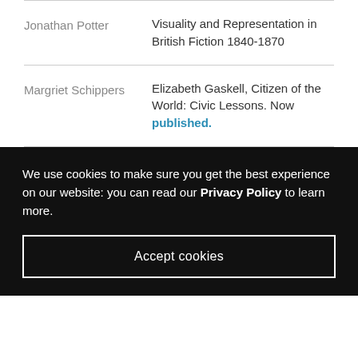| Author | Title |
| --- | --- |
| Jonathan Potter | Visuality and Representation in British Fiction 1840-1870 |
| Margriet Schippers | Elizabeth Gaskell, Citizen of the World: Civic Lessons. Now published. |
We use cookies to make sure you get the best experience on our website: you can read our Privacy Policy to learn more.
Accept cookies